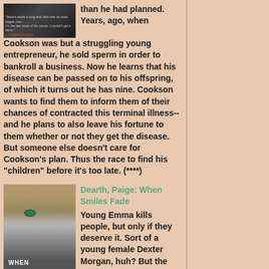[Figure (photo): Book cover thumbnail, dark background with quote text and red source attribution]
than he had planned. Years, ago, when Cookson was but a struggling young entrepreneur, he sold sperm in order to bankroll a business. Now he learns that his disease can be passed on to his offspring, of which it turns out he has nine. Cookson wants to find them to inform them of their chances of contracted this terminal illness--and he plans to also leave his fortune to them whether or not they get the disease. But someone else doesn't care for Cookson's plan. Thus the race to find his "children" before it's too late. (****)
[Figure (photo): Book cover for 'When Smiles Fade' by Paige Dearth showing close-up of a young blonde girl with green eyes on dark background]
Dearth, Paige: When Smiles Fade
Young Emma kills people, but only if they deserve it. Sort of a young female Dexter Morgan, huh? But the